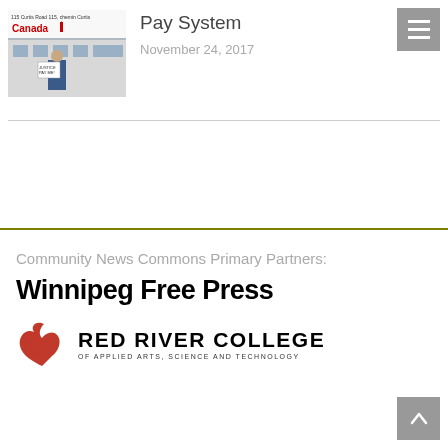[Figure (photo): Thumbnail photo of a person holding a sign outside a government building with Canada wordmark visible, address reads 115 Curtis Road / 115, chemin Curtis]
Pay System
November 24, 2017
Community News Commons Primary Partners:
[Figure (logo): Winnipeg Free Press logo in bold black text]
[Figure (logo): Red River College of Applied Arts, Science and Technology logo with red bird emblem]